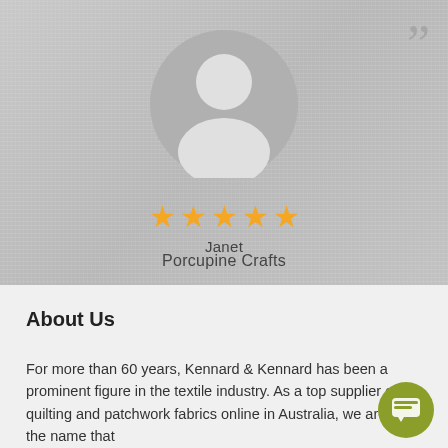[Figure (illustration): Circular gray avatar/profile placeholder icon with silhouette of a person (head and shoulders), displayed on a textured gray woven fabric background. A large double-closing quotation mark is visible in the top-right corner.]
[Figure (infographic): Five gold/yellow star rating icons displayed in a row]
Janet
Porcupine Crafts
About Us
For more than 60 years, Kennard & Kennard has been a prominent figure in the textile industry. As a top supplier of quilting and patchwork fabrics online in Australia, we are the name that